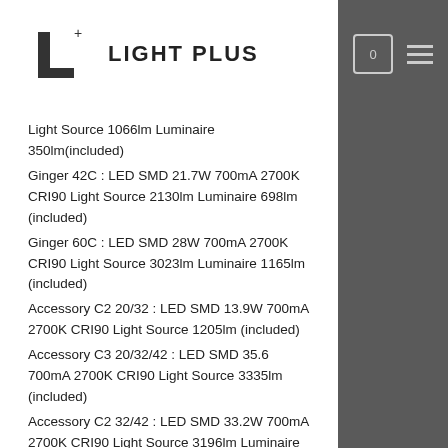LIGHT PLUS
Light Source 1066lm Luminaire 350lm(included)
Ginger 42C : LED SMD 21.7W 700mA 2700K CRI90 Light Source 2130lm Luminaire 698lm (included)
Ginger 60C : LED SMD 28W 700mA 2700K CRI90 Light Source 3023lm Luminaire 1165lm (included)
Accessory C2 20/32 : LED SMD 13.9W 700mA 2700K CRI90 Light Source 1205lm (included)
Accessory C3 20/32/42 : LED SMD 35.6 700mA 2700K CRI90 Light Source 3335lm (included)
Accessory C2 32/42 : LED SMD 33.2W 700mA 2700K CRI90 Light Source 3196lm Luminaire 1048lm (included)
Accessory C3 32/42/60 : LED SMD 60.2W 700mA 2700K CRI90 Light Source 6219lm Luminaire 2213lm (included)
Accessory C2 42/60 : LED SMD 50.2W 700mA 2700K CRI90 Light Source 5153lm Luminaire 1863lm (included)